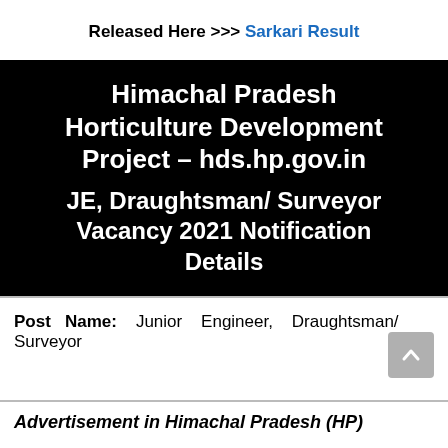Released Here >>> Sarkari Result
Himachal Pradesh Horticulture Development Project – hds.hp.gov.in
JE, Draughtsman/ Surveyor Vacancy 2021 Notification Details
Post Name: Junior Engineer, Draughtsman/ Surveyor
Advertisement in Himachal Pradesh (HP)